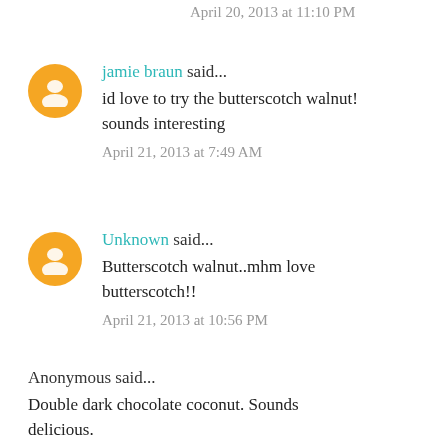April 20, 2013 at 11:10 PM
jamie braun said...
id love to try the butterscotch walnut! sounds interesting
April 21, 2013 at 7:49 AM
Unknown said...
Butterscotch walnut..mhm love butterscotch!!
April 21, 2013 at 10:56 PM
Anonymous said...
Double dark chocolate coconut. Sounds delicious.